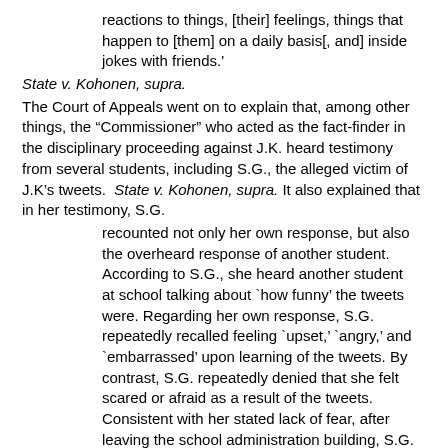reactions to things, [their] feelings, things that happen to [them] on a daily basis[, and] inside jokes with friends.'
State v. Kohonen, supra.
The Court of Appeals went on to explain that, among other things, the “Commissioner” who acted as the fact-finder in the disciplinary proceeding against J.K. heard testimony from several students, including S.G., the alleged victim of J.K’s tweets.  State v. Kohonen, supra. It also explained that in her testimony, S.G.
recounted not only her own response, but also the overheard response of another student. According to S.G., she heard another student at school talking about `how funny’ the tweets were. Regarding her own response, S.G. repeatedly recalled feeling `upset,’ `angry,’ and `embarrassed’ upon learning of the tweets. By contrast, S.G. repeatedly denied that she felt scared or afraid as a result of the tweets. Consistent with her stated lack of fear, after leaving the school administration building, S.G. returned directly to class. Thus, even